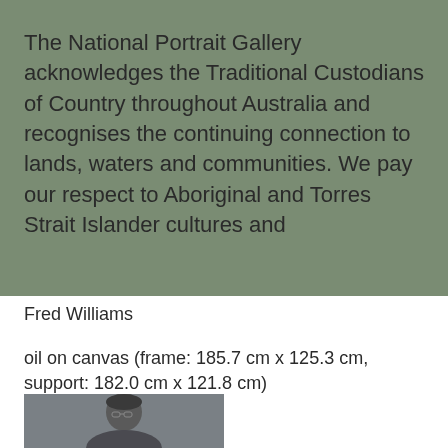The National Portrait Gallery acknowledges the Traditional Custodians of Country throughout Australia and recognises the continuing connection to lands, waters and communities. We pay our respect to Aboriginal and Torres Strait Islander cultures and
Fred Williams
oil on canvas (frame: 185.7 cm x 125.3 cm, support: 182.0 cm x 121.8 cm)
[Figure (photo): Partial portrait photo of a person (Fred Williams) against a grey-green background, visible from approximately the shoulders up, cropped at the bottom of the page.]